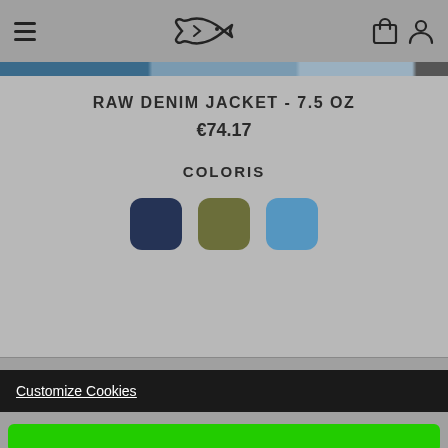Navigation bar with hamburger menu, fish logo, cart and user icons
RAW DENIM JACKET - 7.5 OZ
€74.17
COLORIS
[Figure (illustration): Three color swatches: navy, olive, and steel blue with rounded corners]
SIZE
[Figure (illustration): Size selector buttons: S (selected, dark), M, L, XL, XXL]
Customize Cookies
Add to basket